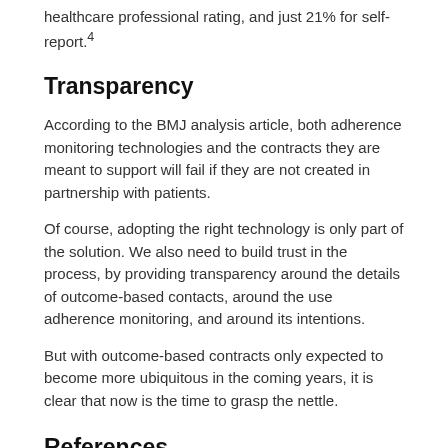healthcare professional rating, and just 21% for self-report.4
Transparency
According to the BMJ analysis article, both adherence monitoring technologies and the contracts they are meant to support will fail if they are not created in partnership with patients.
Of course, adopting the right technology is only part of the solution. We also need to build trust in the process, by providing transparency around the details of outcome-based contacts, around the use adherence monitoring, and around its intentions.
But with outcome-based contracts only expected to become more ubiquitous in the coming years, it is clear that now is the time to grasp the nettle.
References
1. Bartholomew, T., Naci, H., Robertson, E., & Schmidt, H. (2022). Use of adherence monitoring in drug